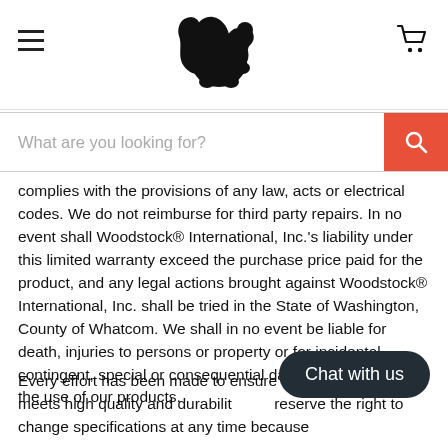[Figure (logo): Black silhouette bear logo centered in the page header]
[Figure (other): Search bar with placeholder text 'What are you looking for?' and red search button with magnifying glass icon]
complies with the provisions of any law, acts or electrical codes. We do not reimburse for third party repairs. In no event shall Woodstock® International, Inc.'s liability under this limited warranty exceed the purchase price paid for the product, and any legal actions brought against Woodstock® International, Inc. shall be tried in the State of Washington, County of Whatcom. We shall in no event be liable for death, injuries to persons or property or for incidental, contingent, special or consequential damages arising from the use of our products.
Every effort has been made to ensure th machinery meets high quality and durabilit reserve the right to change specifications at any time because